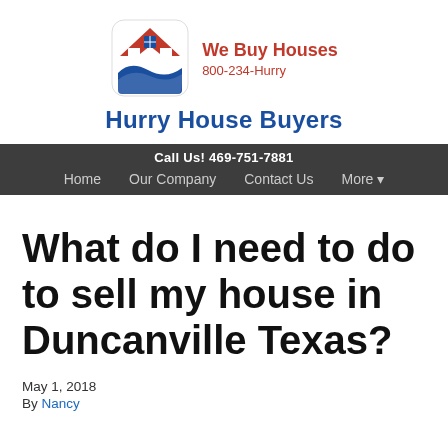[Figure (logo): Hurry House Buyers logo: house icon with red roof chevron and blue base, with text 'We Buy Houses', '800-234-Hurry', and 'Hurry House Buyers' in blue bold]
Call Us! 469-751-7881
Home   Our Company   Contact Us   More •
What do I need to do to sell my house in Duncanville Texas?
May 1, 2018
By Nancy